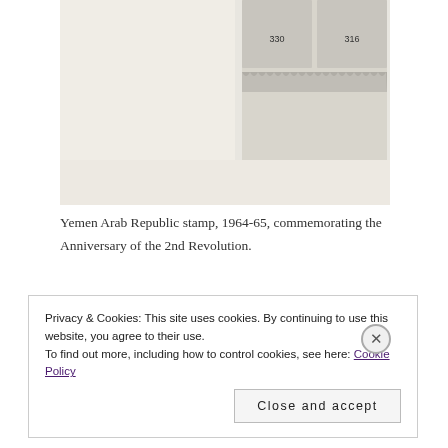[Figure (photo): Yemen Arab Republic stamps showing two stamp designs with numbers 330 and 316, commemorating the Anniversary of the 2nd Revolution, 1964-65.]
Yemen Arab Republic stamp, 1964-65, commemorating the Anniversary of the 2nd Revolution.
JFK and Builders of World Peace
There’s a stylized peace dove on one YAR stamp issued in September 1964 for the Arab Summit Conference.    U.S. President Kennedy’s  face appears on a series honoring
Privacy & Cookies: This site uses cookies. By continuing to use this website, you agree to their use.
To find out more, including how to control cookies, see here: Cookie Policy
Close and accept